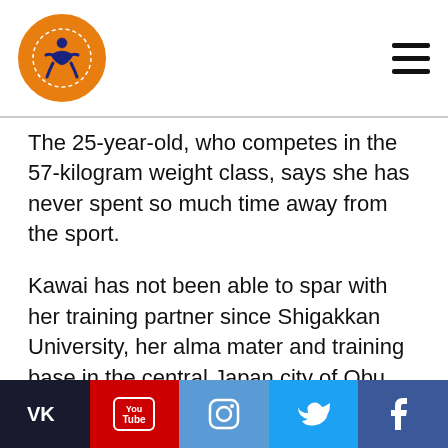Wrestling news site header with logo and hamburger menu
The 25-year-old, who competes in the 57-kilogram weight class, says she has never spent so much time away from the sport.
Kawai has not been able to spar with her training partner since Shigakkan University, her alma mater and training base in the central Japan city of Obu, Aichi Prefecture, suspended all club activities in late March.
"All I do is take in one day at a time," she says.
Four years ago, Kawai wrestled the 63-kg event
Social share bar: VK, YouTube, Instagram, Twitter, Facebook